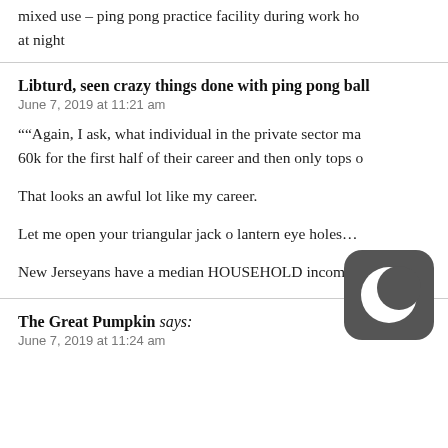mixed use – ping pong practice facility during work ho… at night
Libturd, seen crazy things done with ping pong ball
June 7, 2019 at 11:21 am
""Again, I ask, what individual in the private sector ma… 60k for the first half of their career and then only tops o…
That looks an awful lot like my career.
Let me open your triangular jack o lantern eye holes…
New Jerseyans have a median HOUSEHOLD income o…
The Great Pumpkin says:
June 7, 2019 at 11:24 am